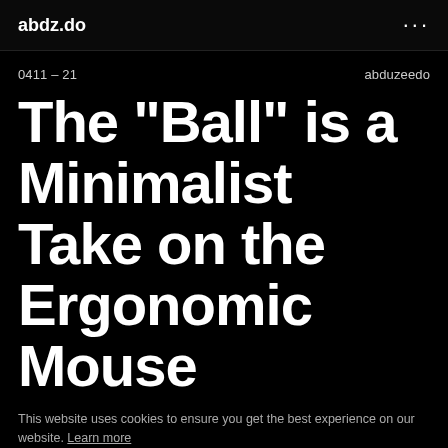abdz.do   ...
0411 – 21   abduzeedo
The "Ball" is a Minimalist Take on the Ergonomic Mouse
This website uses cookies to ensure you get the best experience on our website. Learn more
Allow cookies
Osay Imarhiagbe shared a really interesting